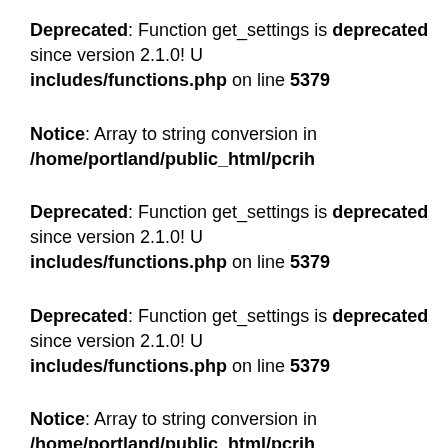Deprecated: Function get_settings is deprecated since version 2.1.0! U includes/functions.php on line 5379
Notice: Array to string conversion in /home/portland/public_html/pcrih
Deprecated: Function get_settings is deprecated since version 2.1.0! U includes/functions.php on line 5379
Deprecated: Function get_settings is deprecated since version 2.1.0! U includes/functions.php on line 5379
Notice: Array to string conversion in /home/portland/public_html/pcrih
Deprecated: Function get_settings is deprecated since version 2.1.0! U includes/functions.php on line 5379
Deprecated: Function get_settings is deprecated since version 2.1.0! U includes/functions.php on line 5379
Notice: Array to string conversion in /home/portland/public_html/pcrih
Deprecated: Function get_settings is deprecated since version 2.1.0! U includes/functions.php on line 5379